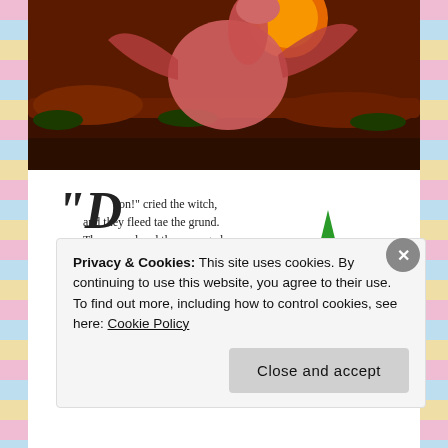[Figure (photo): Screenshot from an animated dragon movie, showing a pink/red dragon creature against a dark reddish-brown rocky landscape with a large orange moon in the background.]
[Figure (illustration): Children's book illustration with stylized text in decorative font and cartoon trees with a witch character and a shoe/boot with flowers. Text reads: 'Doon!' cried the witch, and they fleed tae the grund. They ryped and they reenged but nae hat could be fund.]
Privacy & Cookies: This site uses cookies. By continuing to use this website, you agree to their use.
To find out more, including how to control cookies, see here: Cookie Policy
Close and accept